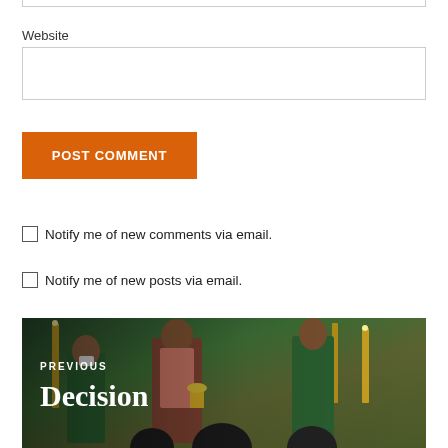Website
POST COMMENT
Notify me of new comments via email.
Notify me of new posts via email.
[Figure (photo): A church Mass scene showing priests in green vestments performing a ceremony at an altar with candles and golden chalice. Overlay text reads PREVIOUS and Decision.]
PREVIOUS
Decision